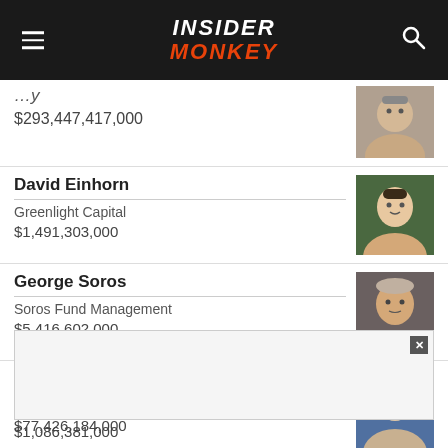INSIDER MONKEY
$293,447,417,000
David Einhorn | Greenlight Capital | $1,491,303,000
George Soros | Soros Fund Management | $5,416,602,000
Jim Simons | Renaissance Technologies | $77,426,184,000
$1,086,381,000